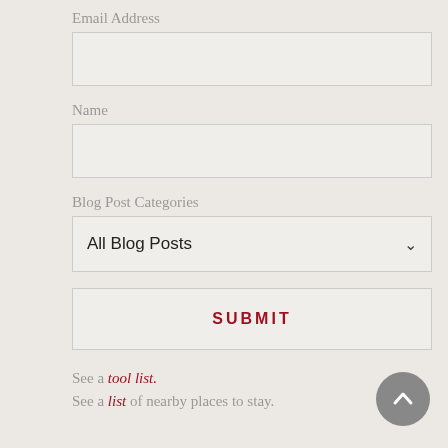Email Address
[Figure (other): Empty text input field for Email Address]
Name
[Figure (other): Empty text input field for Name]
Blog Post Categories
[Figure (other): Dropdown select box showing 'All Blog Posts']
[Figure (other): Submit button with label SUBMIT in red capital letters]
See a tool list.
See a list of nearby places to stay.
[Figure (other): Circular gray scroll-to-top button with upward chevron arrow]